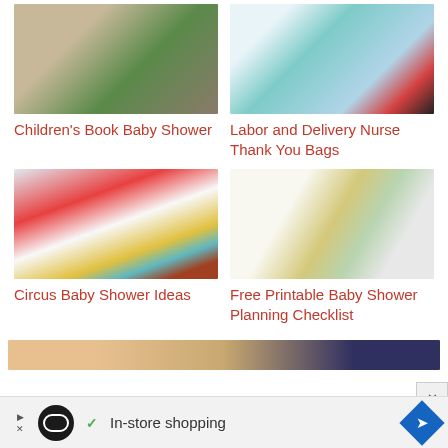[Figure (photo): Children's book baby shower photo with plants and frames]
Children's Book Baby Shower
[Figure (photo): Labor and delivery nurse thank you bags photo]
Labor and Delivery Nurse Thank You Bags
[Figure (photo): Circus baby shower with striped tent and colorful balloons]
Circus Baby Shower Ideas
[Figure (photo): Free printable baby shower planning checklist on clipboard]
Free Printable Baby Shower Planning Checklist
[Figure (photo): Partial photo at bottom of page showing people]
[Figure (infographic): Advertisement bar: In-store shopping with logo and navigation arrow]